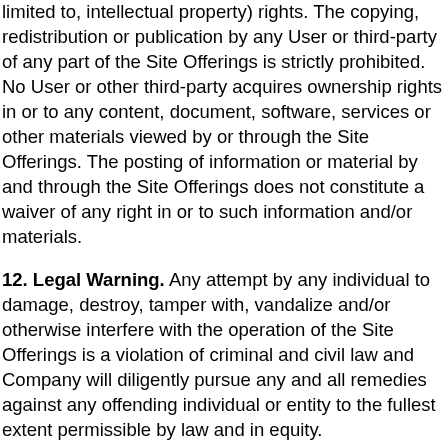limited to, intellectual property) rights. The copying, redistribution or publication by any User or third-party of any part of the Site Offerings is strictly prohibited. No User or other third-party acquires ownership rights in or to any content, document, software, services or other materials viewed by or through the Site Offerings. The posting of information or material by and through the Site Offerings does not constitute a waiver of any right in or to such information and/or materials.
12. Legal Warning. Any attempt by any individual to damage, destroy, tamper with, vandalize and/or otherwise interfere with the operation of the Site Offerings is a violation of criminal and civil law and Company will diligently pursue any and all remedies against any offending individual or entity to the fullest extent permissible by law and in equity.
13. Disclaimer of Warranties. THE SITE OFFERINGS AND ANY OTHER PRODUCTS AND/OR SERVICES OFFERED BY AND/OR THROUGH SAME ARE PROVIDED TO USERS ON